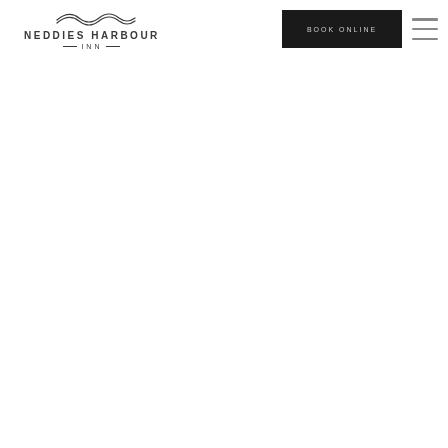NEDDIES HARBOUR INN — BOOK ONLINE
[Figure (logo): Neddies Harbour Inn logo with wave graphic above text]
[Figure (other): BOOK ONLINE button — dark rectangular button with light grey uppercase text]
[Figure (other): Hamburger menu icon — three horizontal grey lines]